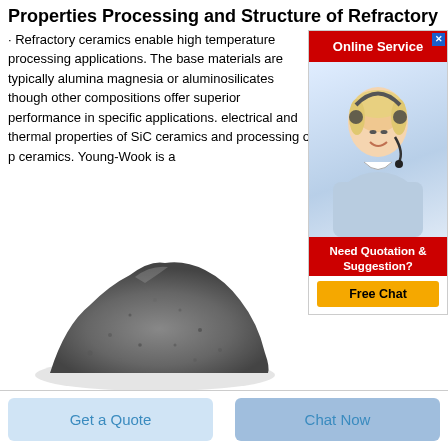Properties Processing and Structure of Refractory
· Refractory ceramics enable high temperature processing applications. The base materials are typically alumina magnesia or aluminosilicates though other compositions offer superior performance in specific applications. electrical and thermal properties of SiC ceramics and processing of p... ceramics. Young-Wook is a
[Figure (photo): Online Service advertisement banner with a woman wearing a headset, red background header reading 'Online Service', and a red footer reading 'Need Quotation & Suggestion?' with a yellow 'Free Chat' button.]
[Figure (photo): Photograph of a pile of dark grey refractory ceramic powder.]
Get a Quote
Chat Now